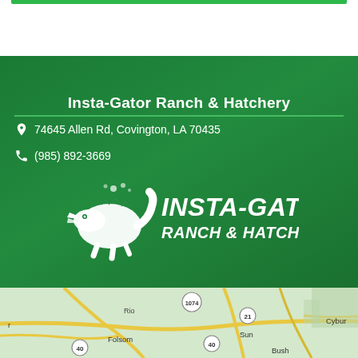Insta-Gator Ranch & Hatchery
74645 Allen Rd, Covington, LA 70435
(985) 892-3669
[Figure (logo): Insta-Gator Ranch & Hatchery logo with alligator illustration and text]
[Figure (map): Google Maps view showing area around Covington, LA including towns: Rio, Folsom, Sun, Bush, Cybur, with route markers 1074, 21, 40]